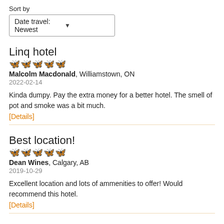Sort by
Date travel: Newest
Linq hotel
2 out of 5 butterflies
Malcolm Macdonald, Williamstown, ON
2022-02-14
Kinda dumpy. Pay the extra money for a better hotel. The smell of pot and smoke was a bit much.
[Details]
Best location!
4.5 out of 5 butterflies
Dean Wines, Calgary, AB
2019-10-29
Excellent location and lots of ammenities to offer! Would recommend this hotel.
[Details]